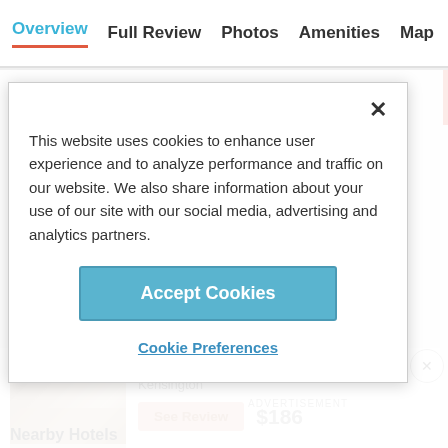Overview   Full Review   Photos   Amenities   Map
This website uses cookies to enhance user experience and to analyze performance and traffic on our website. We also share information about your use of our site with our social media, advertising and analytics partners.
Accept Cookies
Cookie Preferences
The Bailey's Hotel London
Kensington
ADVERTISEMENT
See Review
$186
Nearby Hotels